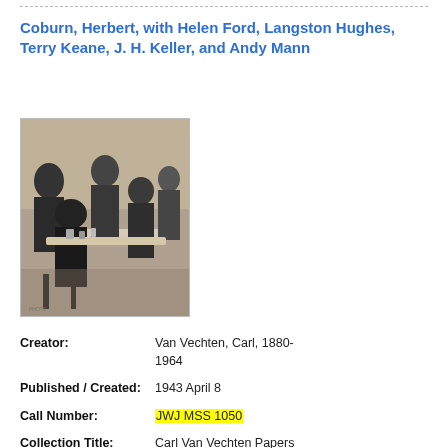Coburn, Herbert, with Helen Ford, Langston Hughes, Terry Keane, J. H. Keller, and Andy Mann
[Figure (photo): Black and white photograph showing a group of people seated and standing around a table, appearing to be at a social gathering or party.]
Creator: Van Vechten, Carl, 1880-1964
Published / Created: 1943 April 8
Call Number: JWJ MSS 1050
Collection Title: Carl Van Vechten Papers